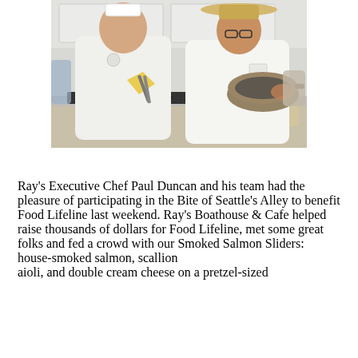[Figure (photo): Two chefs in white uniforms cooking in a kitchen. The chef on the left holds a yellow cloth and tongs over a pan on a gas stove. The chef on the right wears a straw hat and holds up a large pan with food. Kitchen equipment and ingredients are visible in the background.]
Ray's Executive Chef Paul Duncan and his team had the pleasure of participating in the Bite of Seattle's Alley to benefit Food Lifeline last weekend. Ray's Boathouse & Cafe helped raise thousands of dollars for Food Lifeline, met some great folks and fed a crowd with our Smoked Salmon Sliders: house-smoked salmon, scallion aioli, and double cream cheese on a pretzel-sized...